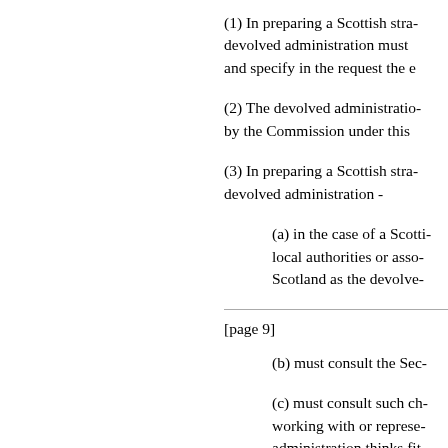(1) In preparing a Scottish stra- devolved administration must and specify in the request the e
(2) The devolved administratio- by the Commission under this
(3) In preparing a Scottish stra- devolved administration -
(a) in the case of a Scotti- local authorities or asso- Scotland as the devolve-
[page 9]
(b) must consult the Sec-
(c) must consult such ch- working with or represe- administration thinks fit
(d) must consult such pa- with or representing par- administration thinks fit